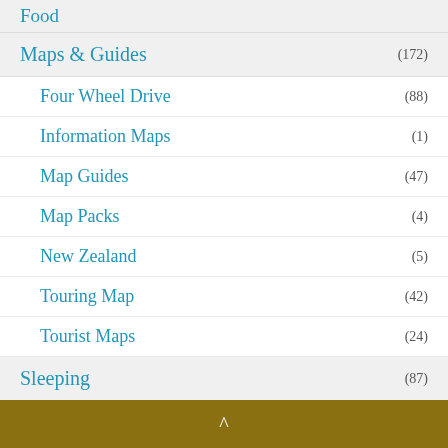Food
Maps & Guides (172)
Four Wheel Drive (88)
Information Maps (1)
Map Guides (47)
Map Packs (4)
New Zealand (5)
Touring Map (42)
Tourist Maps (24)
Sleeping (87)
Accessories (4)
^